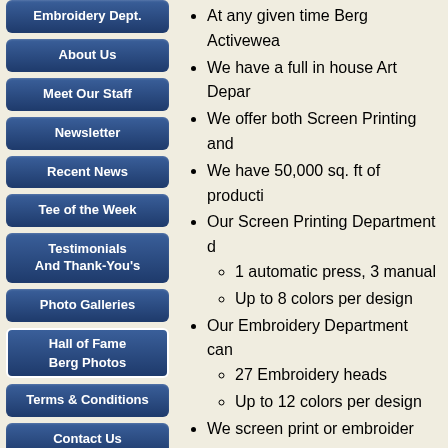Embroidery Dept.
About Us
Meet Our Staff
Newsletter
Recent News
Tee of the Week
Testimonials And Thank-You's
Photo Galleries
Hall of Fame
Berg Photos
Terms & Conditions
Contact Us
At any given time Berg Activewea
We have a full in house Art Depar
We offer both Screen Printing and
We have 50,000 sq. ft of producti
Our Screen Printing Department d
1 automatic press, 3 manual
Up to 8 colors per design
Our Embroidery Department can
27 Embroidery heads
Up to 12 colors per design
We screen print or embroider ove
We keep between 30,000 dozen a
Although we specialize in smaller orde pieces are not uncommon.
We carry all major brands of t-shirts in